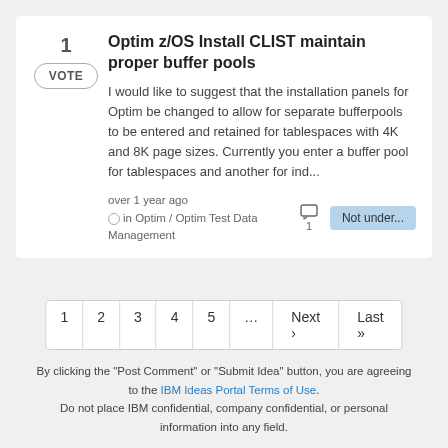Optim z/OS Install CLIST maintain proper buffer pools
I would like to suggest that the installation panels for Optim be changed to allow for separate bufferpools to be entered and retained for tablespaces with 4K and 8K page sizes. Currently you enter a buffer pool for tablespaces and another for ind...
over 1 year ago
in Optim / Optim Test Data Management
Not under...
1
2
3
4
5
...
Next ›
Last »
By clicking the "Post Comment" or "Submit Idea" button, you are agreeing to the IBM Ideas Portal Terms of Use. Do not place IBM confidential, company confidential, or personal information into any field.